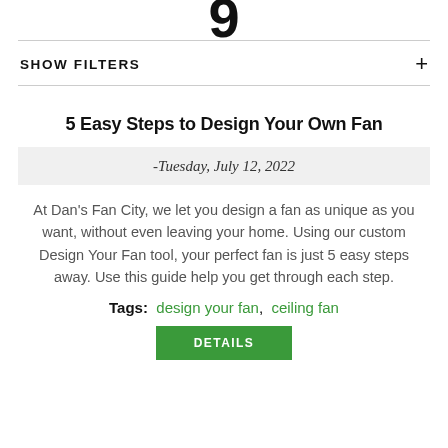[Figure (logo): Large bold numeral or logo mark at the top center of the page]
SHOW FILTERS +
5 Easy Steps to Design Your Own Fan
-Tuesday, July 12, 2022
At Dan's Fan City, we let you design a fan as unique as you want, without even leaving your home. Using our custom Design Your Fan tool, your perfect fan is just 5 easy steps away. Use this guide help you get through each step.
Tags: design your fan, ceiling fan
DETAILS